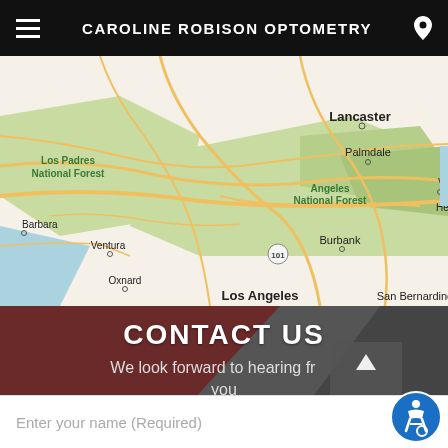CAROLINE ROBISON OPTOMETRY
[Figure (map): Google Maps view showing Los Angeles region including Lancaster, Palmdale, Angeles National Forest, Los Padres National Forest, Ventura, Oxnard, Burbank, Los Angeles, San Bernardino, Victor, Hespe]
CONTACT US
We look forward to hearing from you
Enter your name (Required)